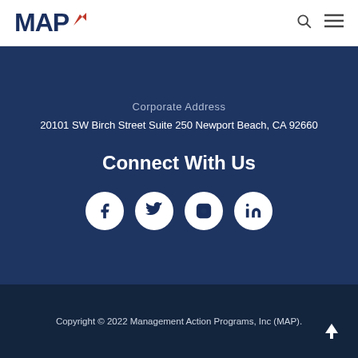MAP
Corporate Address
20101 SW Birch Street Suite 250 Newport Beach, CA 92660
Connect With Us
[Figure (infographic): Four social media icon circles: Facebook, Twitter, Instagram, LinkedIn]
Copyright © 2022 Management Action Programs, Inc (MAP).